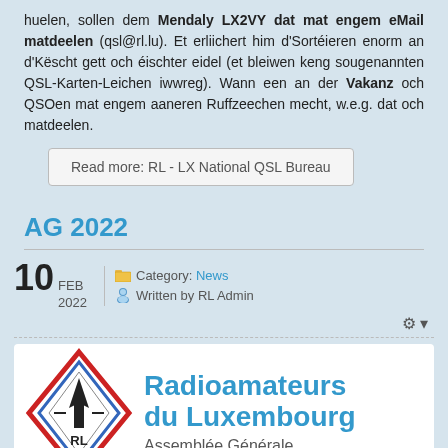huelen, sollen dem Mendaly LX2VY dat mat engem eMail matdeelen (qsl@rl.lu). Et erliichert him d'Sortéieren enorm an d'Këscht gett och éischter eidel (et bleiwen keng sougenannten QSL-Karten-Leichen iwwreg). Wann een an der Vakanz och QSOen mat engem aaneren Ruffzeechen mecht, w.e.g. dat och matdeelen.
Read more: RL - LX National QSL Bureau
AG 2022
10 FEB 2022  Category: News  Written by RL Admin
[Figure (logo): Radioamateurs du Luxembourg logo with diamond shape RL badge and blue text reading 'Radioamateurs du Luxembourg Assemblée Générale']